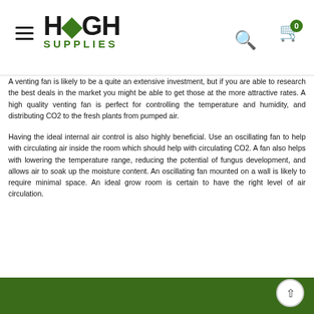HIGH SUPPLIES
A venting fan is likely to be a quite an extensive investment, but if you are able to research the best deals in the market you might be able to get those at the more attractive rates. A high quality venting fan is perfect for controlling the temperature and humidity, and distributing CO2 to the fresh plants from pumped air.
Having the ideal internal air control is also highly beneficial. Use an oscillating fan to help with circulating air inside the room which should help with circulating CO2. A fan also helps with lowering the temperature range, reducing the potential of fungus development, and allows air to soak up the moisture content. An oscillating fan mounted on a wall is likely to require minimal space. An ideal grow room is certain to have the right level of air circulation.